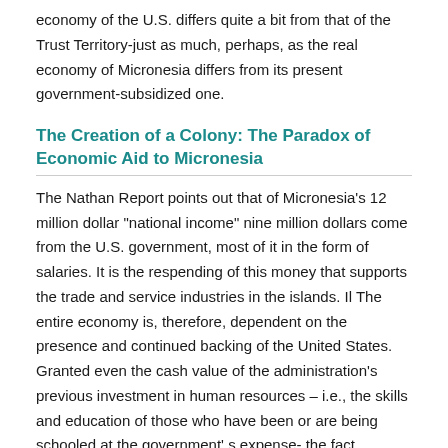economy of the U.S. differs quite a bit from that of the Trust Territory-just as much, perhaps, as the real economy of Micronesia differs from its present government-subsidized one.
The Creation of a Colony: The Paradox of Economic Aid to Micronesia
The Nathan Report points out that of Micronesia's 12 million dollar "national income" nine million dollars come from the U.S. government, most of it in the form of salaries. It is the respending of this money that supports the trade and service industries in the islands. Il The entire economy is, therefore, dependent on the presence and continued backing of the United States. Granted even the cash value of the administration's previous investment in human resources – i.e., the skills and education of those who have been or are being schooled at the government' s expense- the fact remains that they can only be converted into cash by an employer with sufficient funds to pay their salaries. In other words, educated human beings in a country are simply frozen assets unless their own government, private business, or some other agency offers the conditions under which they might feed the economy. Many of the educated in Micronesia can make a